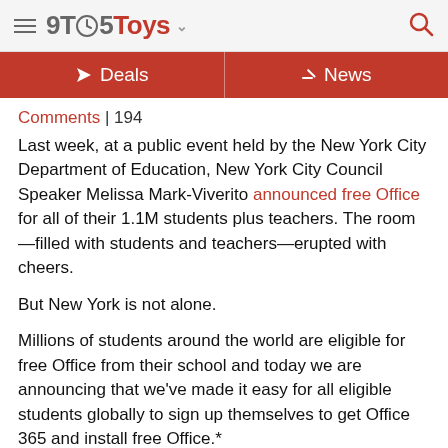9TO5Toys
Deals | News
Comments | 194
Last week, at a public event held by the New York City Department of Education, New York City Council Speaker Melissa Mark-Viverito announced free Office for all of their 1.1M students plus teachers. The room—filled with students and teachers—erupted with cheers.
But New York is not alone.
Millions of students around the world are eligible for free Office from their school and today we are announcing that we've made it easy for all eligible students globally to sign up themselves to get Office 365 and install free Office.*
That includes the 5.5 million eligible students in Australia, the nearly 5 million eligible students in Germany, 7 million